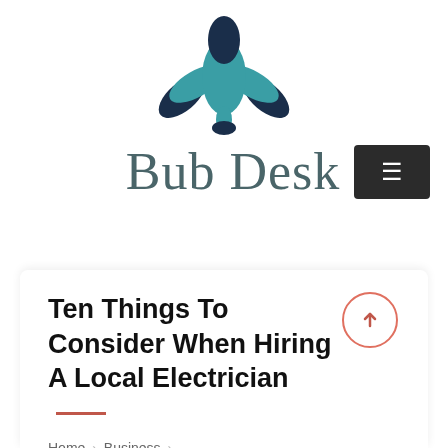[Figure (logo): Bub Desk lotus flower logo in teal and dark navy blue]
Bub Desk
Ten Things To Consider When Hiring A Local Electrician
Home › Business ›